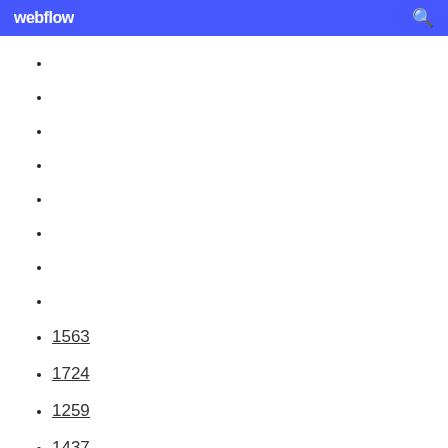webflow
1563
1724
1259
1437
1502